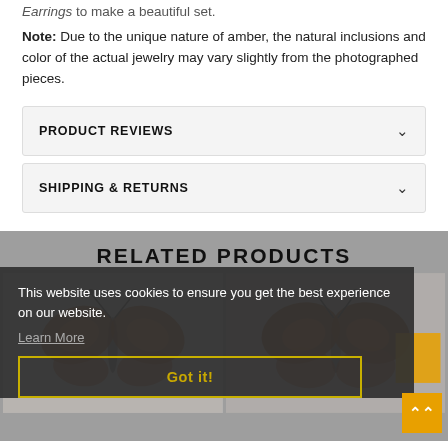Earrings to make a beautiful set.
Note: Due to the unique nature of amber, the natural inclusions and color of the actual jewelry may vary slightly from the photographed pieces.
PRODUCT REVIEWS
SHIPPING & RETURNS
RELATED PRODUCTS
This website uses cookies to ensure you get the best experience on our website.
Learn More
Got it!
[Figure (photo): Amber butterfly brooch/pin on gray background]
[Figure (photo): Amber butterfly brooch/pin on gray background, second product]